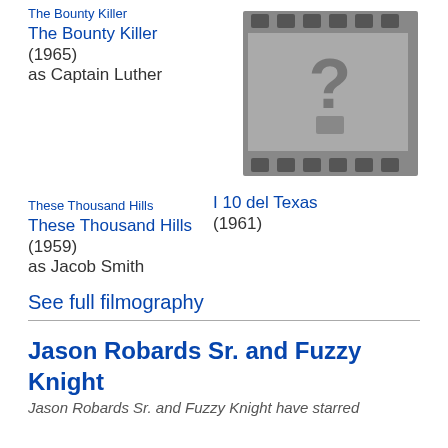[Figure (photo): Broken image placeholder for The Bounty Killer film]
The Bounty Killer
The Bounty Killer
(1965)
as Captain Luther
[Figure (photo): Film strip placeholder image with a question mark]
I 10 del Texas
(1961)
[Figure (photo): Broken image placeholder for These Thousand Hills film]
These Thousand Hills
These Thousand Hills
(1959)
as Jacob Smith
See full filmography
Jason Robards Sr. and Fuzzy Knight
Jason Robards Sr. and Fuzzy Knight have starred